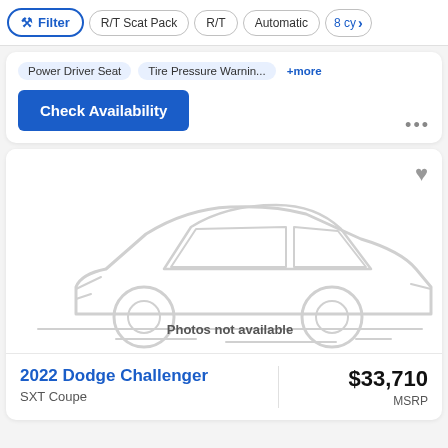Filter | R/T Scat Pack | R/T | Automatic | 8 cy
Power Driver Seat  Tire Pressure Warnin...  +more
Check Availability
[Figure (illustration): Car silhouette placeholder image showing a sedan outline in light gray with text 'Photos not available' below]
2022 Dodge Challenger
SXT Coupe
$33,710
MSRP